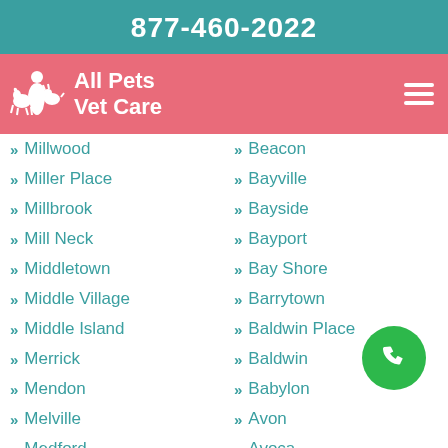877-460-2022
[Figure (logo): All Pets Vet Care logo with white silhouette of pets and person on pink/salmon bar]
Millwood
Miller Place
Millbrook
Mill Neck
Middletown
Middle Village
Middle Island
Merrick
Mendon
Melville
Medford
Maybrook
Mastic Beach
Mastic
Beacon
Bayville
Bayside
Bayport
Bay Shore
Barrytown
Baldwin Place
Baldwin
Babylon
Avon
Avoca
Atlanta
Astoria
Armonk